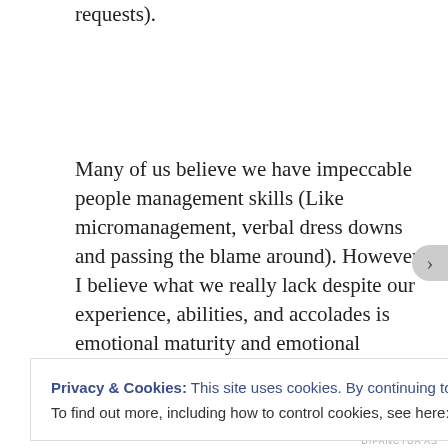requests).
Many of us believe we have impeccable people management skills (Like micromanagement, verbal dress downs and passing the blame around). However, I believe what we really lack despite our experience, abilities, and accolades is emotional maturity and emotional intelligence. I see a dearth of emotional maturity and intelligence within
Privacy & Cookies: This site uses cookies. By continuing to use this website, you agree to their use.
To find out more, including how to control cookies, see here: Cookie Policy
Close and accept